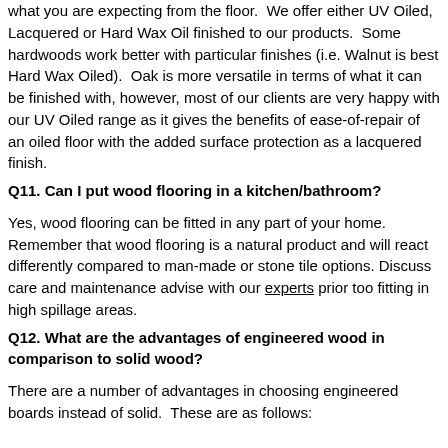what you are expecting from the floor.  We offer either UV Oiled, Lacquered or Hard Wax Oil finished to our products.  Some hardwoods work better with particular finishes (i.e. Walnut is best Hard Wax Oiled).  Oak is more versatile in terms of what it can be finished with, however, most of our clients are very happy with our UV Oiled range as it gives the benefits of ease-of-repair of an oiled floor with the added surface protection as a lacquered finish.
Q11. Can I put wood flooring in a kitchen/bathroom?
Yes, wood flooring can be fitted in any part of your home. Remember that wood flooring is a natural product and will react differently compared to man-made or stone tile options. Discuss care and maintenance advise with our experts prior too fitting in high spillage areas.
Q12. What are the advantages of engineered wood in comparison to solid wood?
There are a number of advantages in choosing engineered boards instead of solid.  These are as follows: